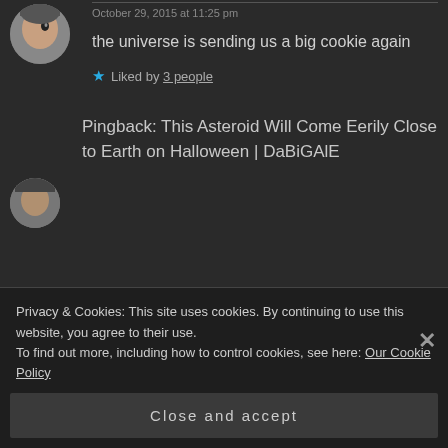[Figure (photo): Circular avatar photo of a person, partially visible at top]
October 29, 2015 at 11:25 pm
the universe is sending us a big cookie again
★ Liked by 3 people
Pingback: This Asteroid Will Come Eerily Close to Earth on Halloween | DaBiGAlE
[Figure (photo): Circular avatar photo partially visible at bottom]
Privacy & Cookies: This site uses cookies. By continuing to use this website, you agree to their use.
To find out more, including how to control cookies, see here: Our Cookie Policy
Close and accept